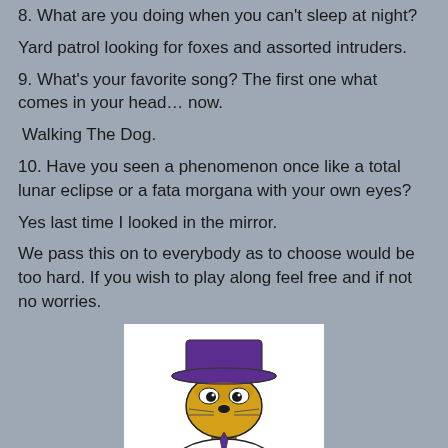8. What are you doing when you can't sleep at night?
Yard patrol looking for foxes and assorted intruders.
9. What's your favorite song? The first one what comes in your head… now.
Walking The Dog.
10. Have you seen a phenomenon once like a total lunar eclipse or a fata morgana with your own eyes?
Yes last time I looked in the mirror.
We pass this on to everybody as to choose would be too hard. If you wish to play along feel free and if not no worries.
[Figure (illustration): Cartoon illustration of a yellow anthropomorphic dog or mole character wearing a purple fedora hat and white suit, looking sideways with a sly expression]